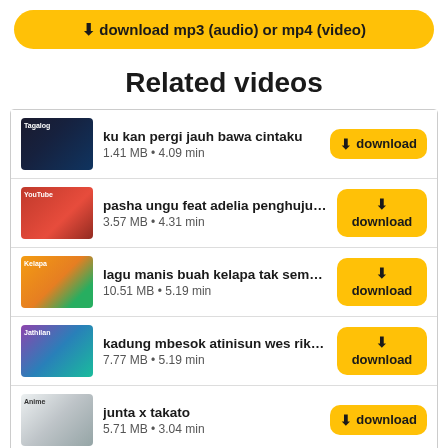⬇ download mp3 (audio) or mp4 (video)
Related videos
ku kan pergi jauh bawa cintaku
1.41 MB • 4.09 min
pasha ungu feat adelia penghujung ...
3.57 MB • 4.31 min
lagu manis buah kelapa tak semani...
10.51 MB • 5.19 min
kadung mbesok atinisun wes riko du...
7.77 MB • 5.19 min
junta x takato
5.71 MB • 3.04 min